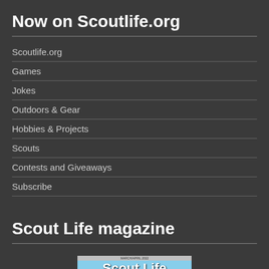Now on Scoutlife.org
Scoutlife.org
Games
Jokes
Outdoors & Gear
Hobbies & Projects
Scouts
Contests and Giveaways
Subscribe
Scout Life magazine
[Figure (photo): Scout Life magazine cover showing a person ziplining with the text 'Scout Life' and partial headline text at the bottom]